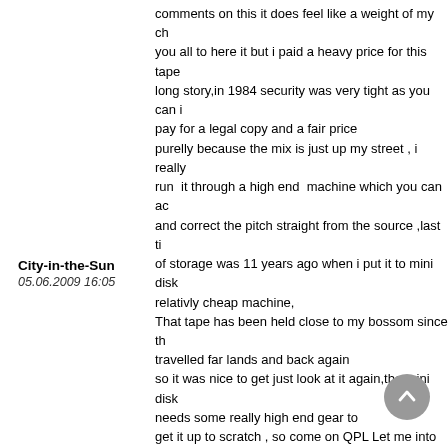comments on this it does feel like a weight of my ch... you all to here it but i paid a heavy price for this tape long story,in 1984 security was very tight as you can i pay for a legal copy and a fair price purelly because the mix is just up my street , i really run it through a high end machine which you can ac and correct the pitch straight from the source ,last ti of storage was 11 years ago when i put it to mini disk relativly cheap machine, That tape has been held close to my bossom since th travelled far lands and back again so it was nice to get just look at it again,the mini disk needs some really high end gear to get it up to scratch , so come on QPL Let me into you it donw in its ultimate form and move forward with all this hype about it,i am dying to out there have lisened to the concerts before espec must have im sure , what do you guys think ? Keep up the posts and comments please as we can p bit im sure .. Long live Soundboard recordings.... and sites and Fans like yourselves
City-in-the-Sun
05.06.2009 16:05